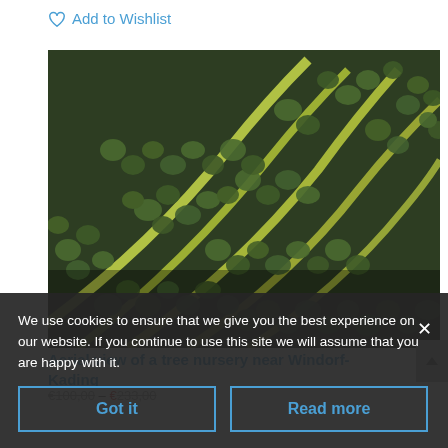Add to Wishlist
[Figure (photo): Aerial view of a tree nursery near Windorf-Kading showing rows of young trees with yellow-green paths between them, viewed from above]
Aerial view of a tree nursery near Windorf-Kading
€100,00 – €233,00 inc. VAT. Select options
We use cookies to ensure that we give you the best experience on our website. If you continue to use this site we will assume that you are happy with it.
Got it
Read more